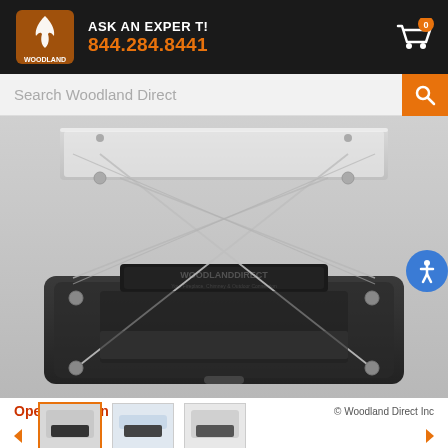ASK AN EXPERT! 844.284.8441
Search Woodland Direct
[Figure (photo): A chimney cap or fireplace damper shown in Open Position — a rectangular black base plate with a silver/stainless steel top cover connected by crossed tension wires/cables forming an X-brace pattern, with the Woodland Direct watermark logo visible in the center. The device is shown fully opened (extended position).]
Open Position  © Woodland Direct Inc
[Figure (photo): Small thumbnail row showing product variations at the bottom of the page]